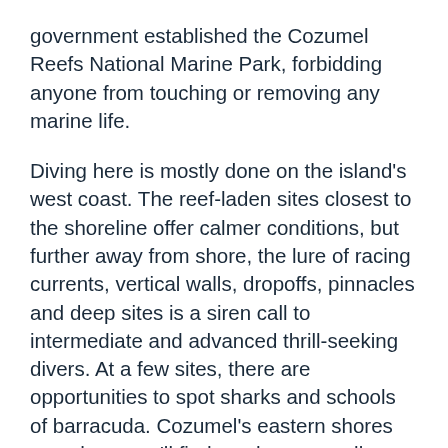government established the Cozumel Reefs National Marine Park, forbidding anyone from touching or removing any marine life.
Diving here is mostly done on the island's west coast. The reef-laden sites closest to the shoreline offer calmer conditions, but further away from shore, the lure of racing currents, vertical walls, dropoffs, pinnacles and deep sites is a siren call to intermediate and advanced thrill-seeking divers. At a few sites, there are opportunities to spot sharks and schools of barracuda. Cozumel's eastern shores are where you'll find much more mellow diving, with shallow reefs in about 50 feet or less in a series of small atolls featuring a variety of hard corals, caves and schools of colorful, topical fish.
Other water activities include para-sailing, kitesurfing, and a tourist submarine. There are two dolphinariums as well. In downtown Cozumel there